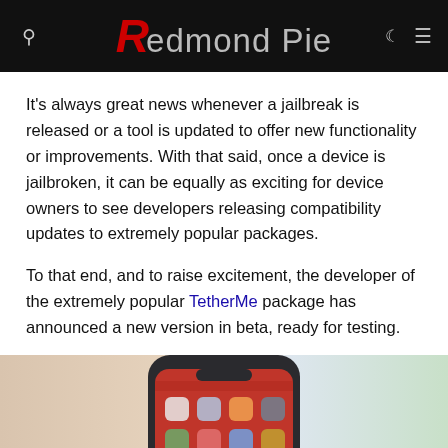Redmond Pie
It's always great news whenever a jailbreak is released or a tool is updated to offer new functionality or improvements. With that said, once a device is jailbroken, it can be equally as exciting for device owners to see developers releasing compatibility updates to extremely popular packages.
To that end, and to raise excitement, the developer of the extremely popular TetherMe package has announced a new version in beta, ready for testing.
[Figure (photo): iPhone with home screen showing app icons, set against a warm beige/pink background with a circular scroll-to-top button overlay at lower right]